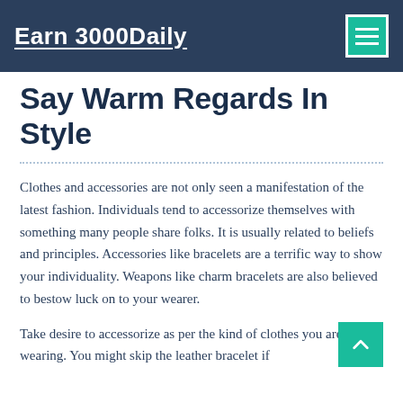Earn 3000Daily
Say Warm Regards In Style
Clothes and accessories are not only seen a manifestation of the latest fashion. Individuals tend to accessorize themselves with something many people share folks. It is usually related to beliefs and principles. Accessories like bracelets are a terrific way to show your individuality. Weapons like charm bracelets are also believed to bestow luck on to your wearer.
Take desire to accessorize as per the kind of clothes you are wearing. You might skip the leather bracelet if